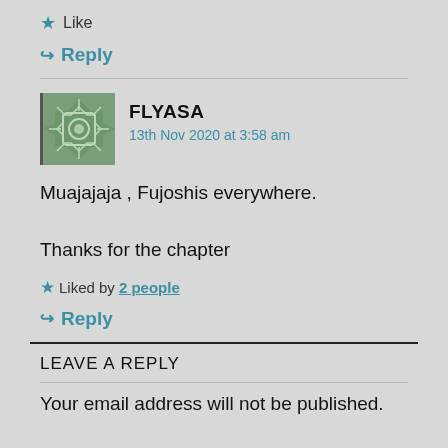★ Like
↳ Reply
FLYASA
13th Nov 2020 at 3:58 am
Muajajaja , Fujoshis everywhere.

Thanks for the chapter
★ Liked by 2 people
↳ Reply
LEAVE A REPLY
Your email address will not be published.